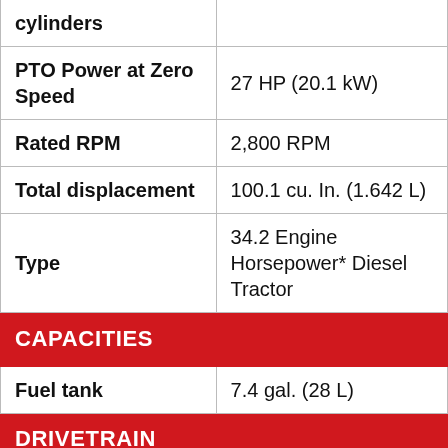| Specification | Value |
| --- | --- |
| cylinders |  |
| PTO Power at Zero Speed | 27 HP (20.1 kW) |
| Rated RPM | 2,800 RPM |
| Total displacement | 100.1 cu. In. (1.642 L) |
| Type | 34.2 Engine Horsepower* Diesel Tractor |
| CAPACITIES |  |
| Fuel tank | 7.4 gal. (28 L) |
| DRIVETRAIN |  |